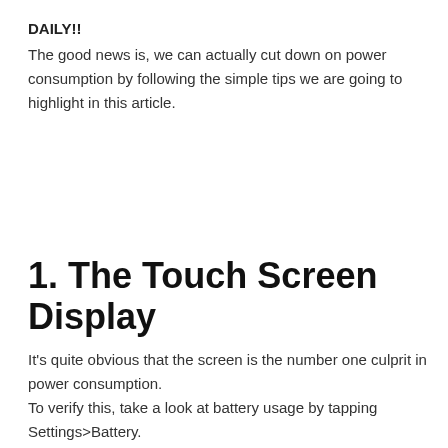DAILY!!
The good news is, we can actually cut down on power consumption by following the simple tips we are going to highlight in this article.
1. The Touch Screen Display
It’s quite obvious that the screen is the number one culprit in power consumption.
To verify this, take a look at battery usage by tapping Settings>Battery.